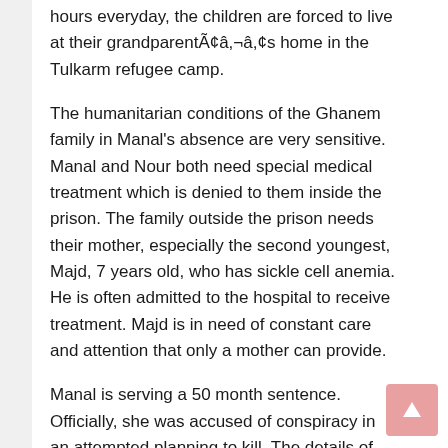hours everyday, the children are forced to live at their grandparentÃ¢â‚¬â„¢s home in the Tulkarm refugee camp.
The humanitarian conditions of the Ghanem family in Manal's absence are very sensitive. Manal and Nour both need special medical treatment which is denied to them inside the prison. The family outside the prison needs their mother, especially the second youngest, Majd, 7 years old, who has sickle cell anemia. He is often admitted to the hospital to receive treatment. Majd is in need of constant care and attention that only a mother can provide.
Manal is serving a 50 month sentence. Officially, she was accused of conspiracy in an attempted planning to kill. The details of her